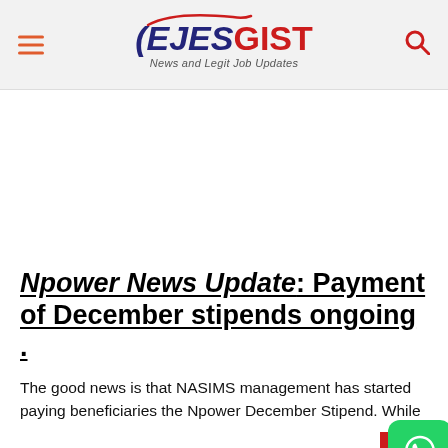EJESGIST News and Legit Job Updates
[Figure (other): Advertisement/blank white space area]
Npower News Update: Payment of December stipends ongoing .
The good news is that NASIMS management has started paying beneficiaries the Npower December Stipend. While